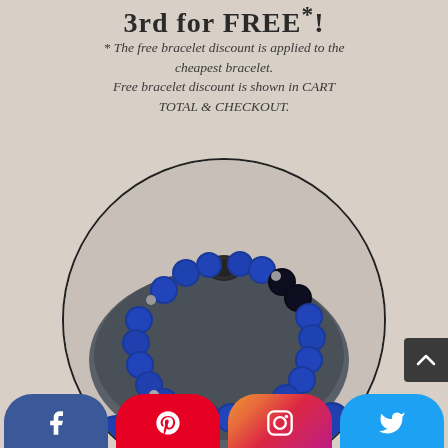3rd for FREE*!
* The free bracelet discount is applied to the cheapest bracelet.
Free bracelet discount is shown in CART TOTAL & CHECKOUT.
[Figure (photo): A beaded bracelet with blue tiger eye and black beads with a dark lava stone focal bead, displayed on a grey stone, shown in a circular cropped image.]
[Figure (infographic): Social media share buttons: Facebook (blue), Pinterest (red), Instagram (gradient), Twitter (light blue)]